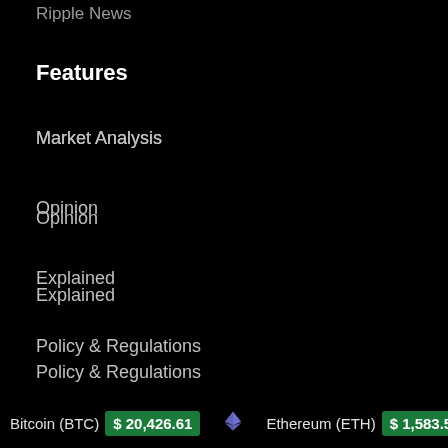Ripple News
Features
Market Analysis
Opinion
Explained
Policy & Regulations
Top Cryptocurrencies
Technology News
Market Tools
Bitcoin (BTC) $20,426.61   Ethereum (ETH) $1,583.51